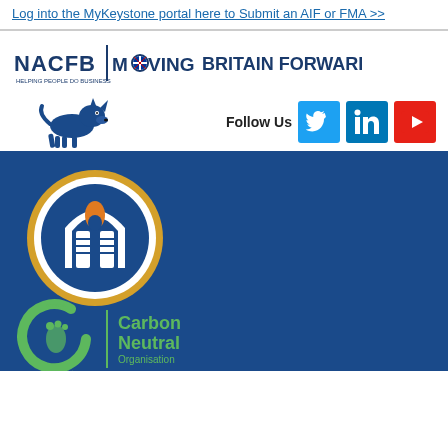Log into the MyKeystone portal here to Submit an AIF or FMA >>
[Figure (logo): NACFB | Moving Britain Forward logo with running dog icon]
[Figure (infographic): Follow Us social media buttons: Twitter (blue bird), LinkedIn (blue in), YouTube (red play button)]
[Figure (logo): NACFB circular logo badge on dark blue background]
[Figure (logo): Carbon Footprint Standard Carbon Neutral Organisation logo on dark blue background]